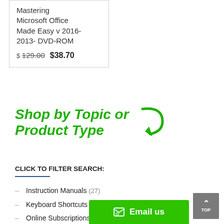Mastering Microsoft Office Made Easy v 2016-2013- DVD-ROM
$ 129.00  $38.70
[Figure (infographic): Shop by Topic or Product Type heading with green curved arrow graphic]
CLICK TO FILTER SEARCH:
Instruction Manuals (27)
Keyboard Shortcuts Stickers (6)
Online Subscriptions (3)